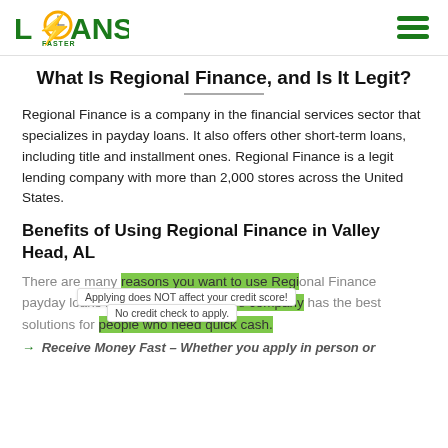LOANS FASTER [logo] [hamburger menu]
What Is Regional Finance, and Is It Legit?
Regional Finance is a company in the financial services sector that specializes in payday loans. It also offers other short-term loans, including title and installment ones. Regional Finance is a legit lending company with more than 2,000 stores across the United States.
Benefits of Using Regional Finance in Valley Head, AL
There are many reasons you want to use Regional Finance payday loans in Valley Head, AL. The company has the best solutions for people who need quick cash.
Applying does NOT affect your credit score!
No credit check to apply.
Receive Money Fast – Whether you apply in person or